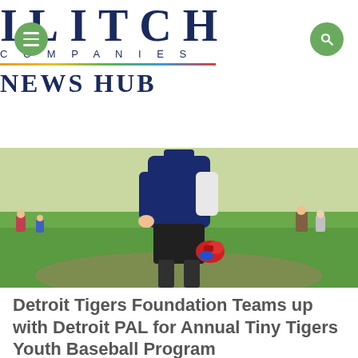ILITCH COMPANIES NEWS HUB
[Figure (photo): A youth baseball player in a navy blue polo shirt and white arm sleeve holding a red baseball glove, standing on a green grass field at a baseball diamond. Other players and spectators visible in the background.]
Detroit Tigers Foundation Teams up with Detroit PAL for Annual Tiny Tigers Youth Baseball Program